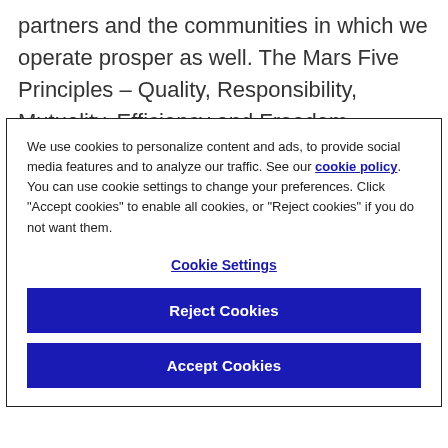partners and the communities in which we operate prosper as well. The Mars Five Principles – Quality, Responsibility, Mutuality, Efficiency and Freedom – inspire our Associates to take action every day to help create a world tomorrow in which the planet, its
We use cookies to personalize content and ads, to provide social media features and to analyze our traffic. See our cookie policy. You can use cookie settings to change your preferences. Click "Accept cookies" to enable all cookies, or "Reject cookies" if you do not want them.
Cookie Settings
Reject Cookies
Accept Cookies